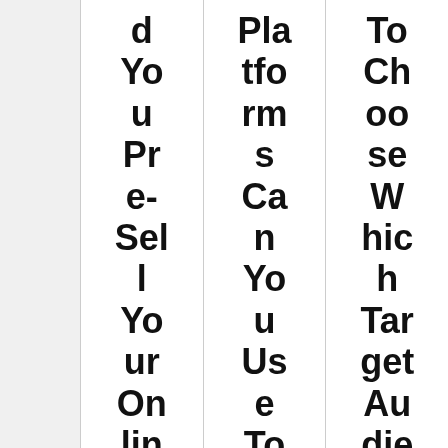d You Pre-Sell Your Online Co
Platforms Can You Use To Host
To Choose Which Target Audience